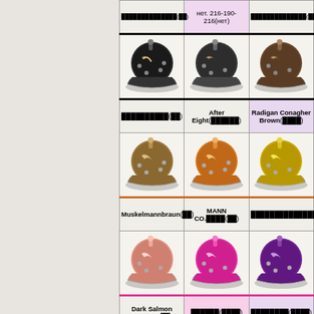| Color1 | Color2 | Color3 |
| --- | --- | --- |
| (partial top row - cut off) | нет. 216-190-216(нет) | (partial) |
| (dark hat) | (dark hat) | (brown hat) |
| (label cut) | After Eight(xxxxxx) | Radigan Conagher Brown(xxxx) |
| (tan hat) | (orange hat) | (yellow hat) |
| Muskelmannbraun(xx) | MANN CO.xxxx(xx) | (label cut) |
| (salmon hat) | (pink hat) | (purple hat) |
| Dark Salmon Injustice(xx) | xxxxxx(xxxx) | xxxxxxxx(xxxx) |
| (dark teal hat) | (dark green hat) | (olive hat) |